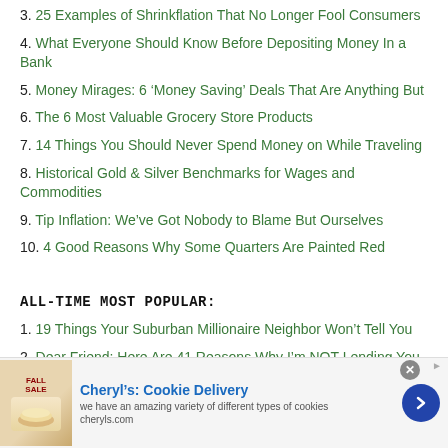3. 25 Examples of Shrinkflation That No Longer Fool Consumers
4. What Everyone Should Know Before Depositing Money In a Bank
5. Money Mirages: 6 ‘Money Saving’ Deals That Are Anything But
6. The 6 Most Valuable Grocery Store Products
7. 14 Things You Should Never Spend Money on While Traveling
8. Historical Gold & Silver Benchmarks for Wages and Commodities
9. Tip Inflation: We’ve Got Nobody to Blame But Ourselves
10. 4 Good Reasons Why Some Quarters Are Painted Red
ALL-TIME MOST POPULAR:
1. 19 Things Your Suburban Millionaire Neighbor Won’t Tell You
2. Dear Friend: Here Are 41 Reasons Why I’m NOT Lending You the